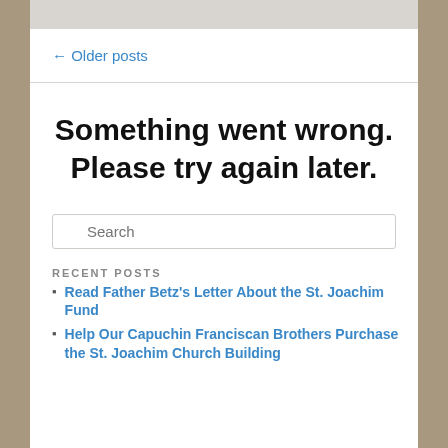[Figure (other): Top image bar partially visible at top of page]
← Older posts
Something went wrong. Please try again later.
Search
RECENT POSTS
Read Father Betz's Letter About the St. Joachim Fund
Help Our Capuchin Franciscan Brothers Purchase the St. Joachim Church Building